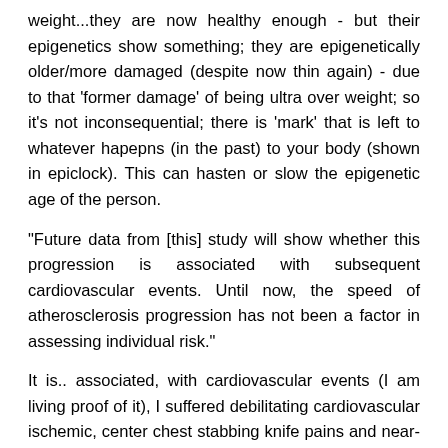weight...they are now healthy enough - but their epigenetics show something; they are epigenetically older/more damaged (despite now thin again) - due to that 'former damage' of being ultra over weight; so it's not inconsequential; there is 'mark' that is left to whatever hapepns (in the past) to your body (shown in epiclock). This can hasten or slow the epigenetic age of the person.
"Future data from [this] study will show whether this progression is associated with subsequent cardiovascular events. Until now, the speed of atherosclerosis progression has not been a factor in assessing individual risk."
It is.. associated, with cardiovascular events (I am living proof of it), I suffered debilitating cardiovascular ischemic, center chest stabbing knife pains and near-death events afterwards/of surviving (it) - due to